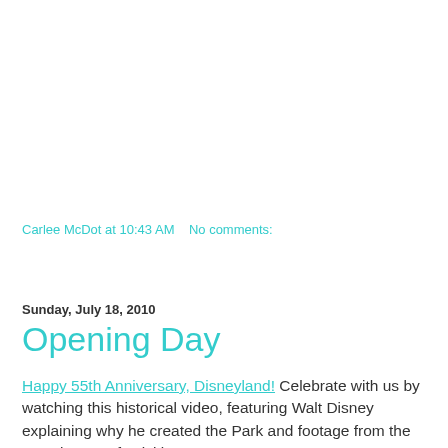Carlee McDot at 10:43 AM   No comments:
Share
Sunday, July 18, 2010
Opening Day
Happy 55th Anniversary, Disneyland! Celebrate with us by watching this historical video, featuring Walt Disney explaining why he created the Park and footage from the Opening Day festivities.